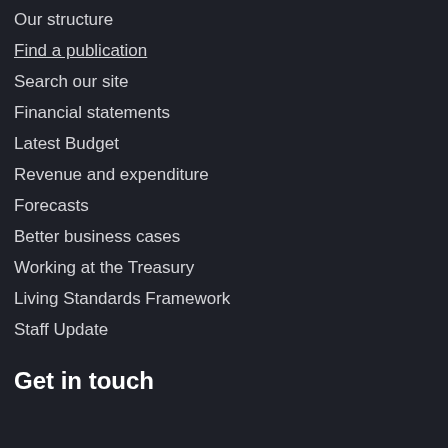Our structure
Find a publication
Search our site
Financial statements
Latest Budget
Revenue and expenditure
Forecasts
Better business cases
Working at the Treasury
Living Standards Framework
Staff Update
Get in touch